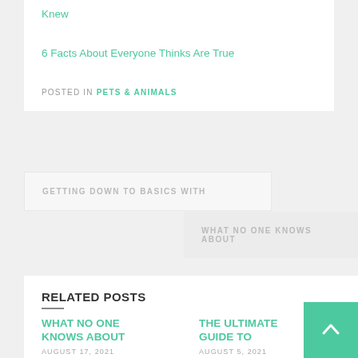Knew
6 Facts About Everyone Thinks Are True
POSTED IN PETS & ANIMALS
GETTING DOWN TO BASICS WITH
WHAT NO ONE KNOWS ABOUT
RELATED POSTS
WHAT NO ONE KNOWS ABOUT
AUGUST 17, 2021
THE ULTIMATE GUIDE TO
AUGUST 5, 2021